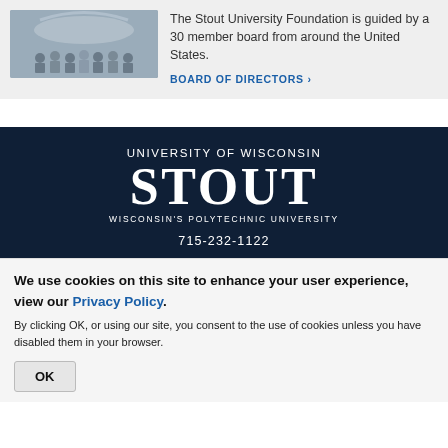[Figure (photo): Group photo of people posing outdoors under a large metal arch sculpture]
The Stout University Foundation is guided by a 30 member board from around the United States.
BOARD OF DIRECTORS >
[Figure (logo): University of Wisconsin-Stout logo with text: UNIVERSITY OF WISCONSIN, STOUT, WISCONSIN'S POLYTECHNIC UNIVERSITY]
715-232-1122
We use cookies on this site to enhance your user experience, view our Privacy Policy.
By clicking OK, or using our site, you consent to the use of cookies unless you have disabled them in your browser.
OK